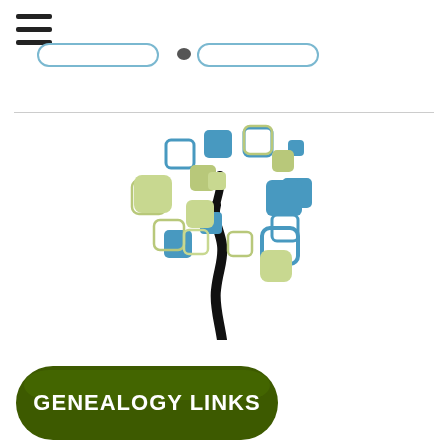[Figure (illustration): Hamburger menu icon (three horizontal lines) in top-left corner]
[Figure (illustration): Two rounded-rectangle navigation tab outlines in the upper area]
[Figure (logo): Stylized tree logo made of blue and green rounded squares/rectangles with a black curved trunk]
[Figure (illustration): Dark olive-green pill-shaped button with white bold text reading GENEALOGY LINKS]